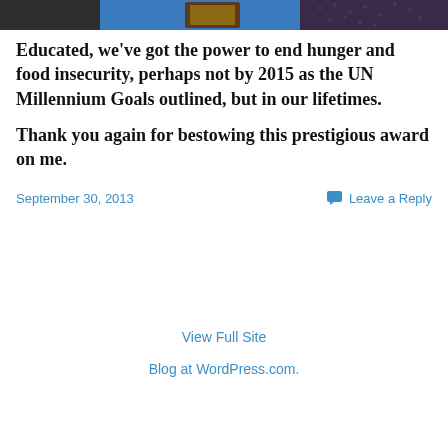[Figure (photo): Partial photo of people at an award ceremony, cropped at top of frame showing three people, one in blue holding a plaque award]
Educated, we've got the power to end hunger and food insecurity, perhaps not by 2015 as the UN Millennium Goals outlined, but in our lifetimes.
Thank you again for bestowing this prestigious award on me.
September 30, 2013
Leave a Reply
View Full Site
Blog at WordPress.com.